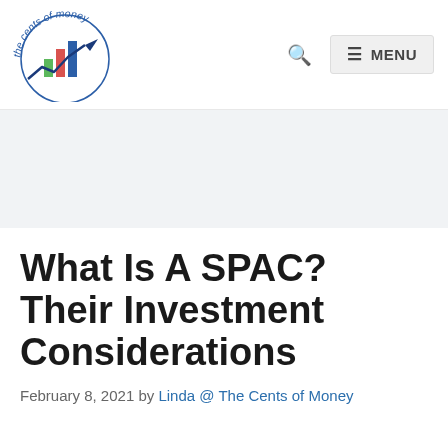[Figure (logo): The Cents of Money logo — circular text reading 'the cents of money' in blue, with colorful bar chart (green, red, blue bars) and a blue upward arrow/line chart]
🔍  ☰ MENU
[Figure (other): Gray advertisement banner placeholder]
What Is A SPAC? Their Investment Considerations
February 8, 2021 by Linda @ The Cents of Money